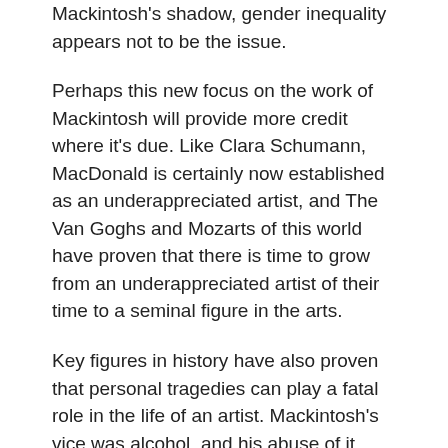Mackintosh's shadow, gender inequality appears not to be the issue.
Perhaps this new focus on the work of Mackintosh will provide more credit where it's due. Like Clara Schumann, MacDonald is certainly now established as an underappreciated artist, and The Van Goghs and Mozarts of this world have proven that there is time to grow from an underappreciated artist of their time to a seminal figure in the arts.
Key figures in history have also proven that personal tragedies can play a fatal role in the life of an artist. Mackintosh's vice was alcohol, and his abuse of it lead to cancer, taking his life at 60 and leaving behind what is considered by many too short a repertoire of work. Perhaps his untimely death has contributed to his hierarchy in fame, compared to his contemporaries. By the time of Mackintosh's death in 1928, his career,